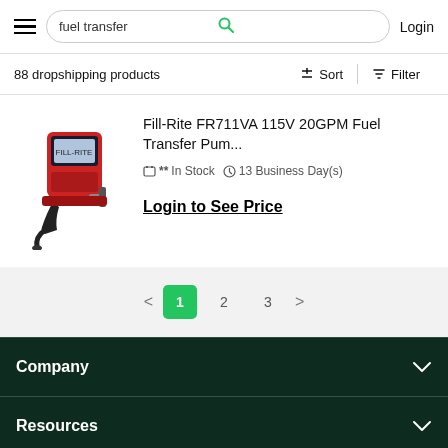fuel transfer | Login
88 dropshipping products
Sort  Filter
[Figure (photo): Red Fill-Rite FR711VA fuel transfer pump with hose and meter]
Fill-Rite FR711VA 115V 20GPM Fuel Transfer Pum...
** In Stock   13 Business Day(s)
Login to See Price
< 1 2 3 >
Company
Resources